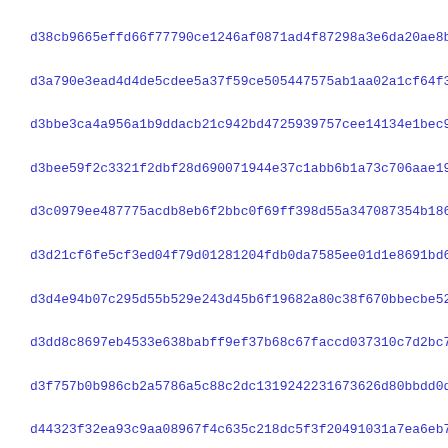d38cb9665effd66f77790ce1246af0871ad4f87298a3e6da20ae8b9de1d26
d3a790e3ead4d4de5cdee5a37f59ce505447575ab1aa02a1cf64f3a55d9af
d3bbe3ca4a956a1b9ddacb21c942bd4725939757cee14134e1bec935a41b0
d3bee59f2c3321f2dbf28d690071944e37c1abb6b1a73c706aae19ddb6add
d3c0979ee487775acdb8eb6f2bbc0f69ff398d55a347087354b1862bf4b1e
d3d21cf6fe5cf3ed04f79d01281204fdb0da7585ee01d1e8691bd6b6c8b47
d3d4e94b07c295d55b529e243d45b6f19682a80c38f670bbecbe52b890a47
d3dd8c8697eb4533e638babff9ef37b68c67faccd037310c7d2bc76cc1767
d3f757b0b986cb2a5786a5c88c2dc1319242231673626d80bbdd0db9251ef
d44323f32ea93c9aa08967f4c635c218dc5f3f20491031a7ea6eb76f63415